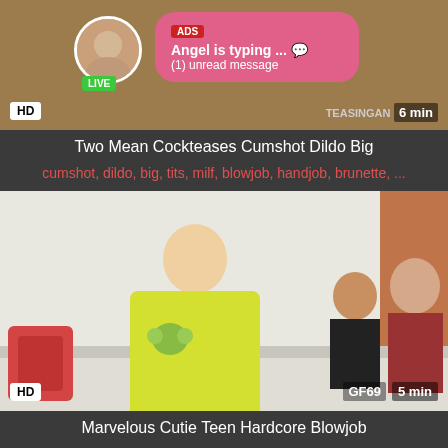[Figure (screenshot): Video thumbnail with HD badge, TEASINGAN site label, 6 min duration, and an ad overlay showing 'ADS Angel is typing ... (1) unread message' with a pink background and a circular avatar with LIVE badge]
Two Mean Cockteases Cumshot Dildo Big
cumshot, dildo, big, tits, milf, blowjob, handjob, brunette, ...
[Figure (screenshot): Video thumbnail showing young people on a sofa, HD badge, GF69 site label, 5 min duration]
Marvelous Cutie Teen Hardcore Blowjob